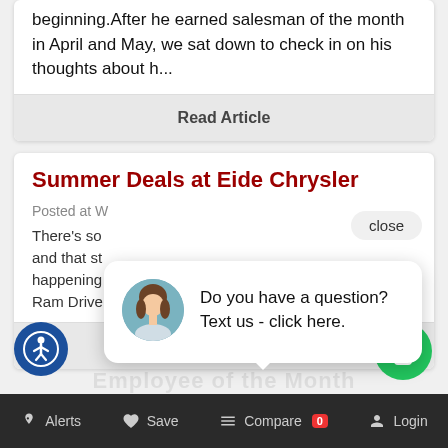beginning.After he earned salesman of the month in April and May, we sat down to check in on his thoughts about h...
Read Article
Summer Deals at Eide Chrysler
close
Posted at W
There's so and that st happening Ram Drive
[Figure (illustration): Chat popup with female avatar image and text: Do you have a question? Text us - click here.]
Do you have a question? Text us - click here.
Read Article
[Figure (illustration): Accessibility icon - circular blue button with person in circle symbol]
[Figure (illustration): Green circular mobile phone icon button]
Alerts  Save  Compare 0  Login